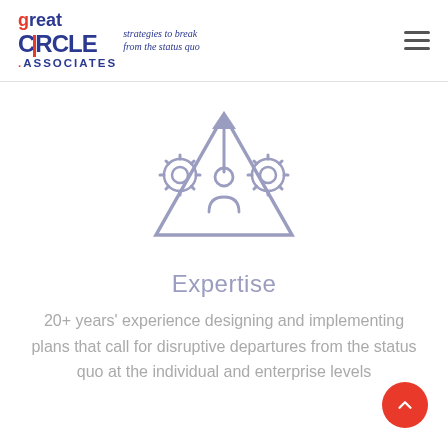great CIRCLE ASSOCIATES — strategies to break from the status quo
[Figure (illustration): Icon of a person inside a triangle/arrow pointing upward, flanked by two gear/cog wheels, all in light purple/lavender outline style]
Expertise
20+ years' experience designing and implementing plans that call for disruptive departures from the status quo at the individual and enterprise levels